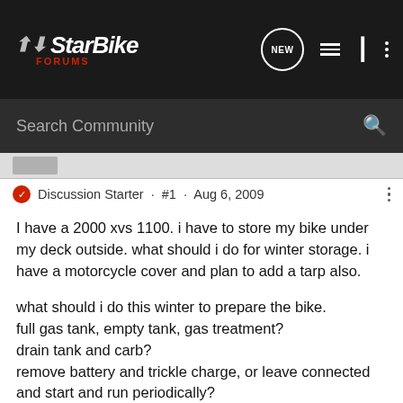StarBike Forums — navigation bar with logo, NEW, list, user, and dots icons
Search Community
Discussion Starter · #1 · Aug 6, 2009
I have a 2000 xvs 1100. i have to store my bike under my deck outside. what should i do for winter storage. i have a motorcycle cover and plan to add a tarp also.

what should i do this winter to prepare the bike.
full gas tank, empty tank, gas treatment?
drain tank and carb?
remove battery and trickle charge, or leave connected and start and run periodically?

do i need to change oil before winter, assuming i dont plan to ride